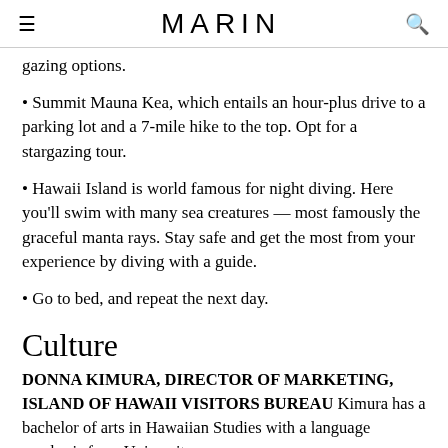MARIN
gazing options.
Summit Mauna Kea, which entails an hour-plus drive to a parking lot and a 7-mile hike to the top. Opt for a stargazing tour.
Hawaii Island is world famous for night diving. Here you’ll swim with many sea creatures — most famously the graceful manta rays. Stay safe and get the most from your experience by diving with a guide.
Go to bed, and repeat the next day.
Culture
DONNA KIMURA, DIRECTOR OF MARKETING, ISLAND OF HAWAII VISITORS BUREAU Kimura has a bachelor of arts in Hawaiian Studies with a language emphasis from University